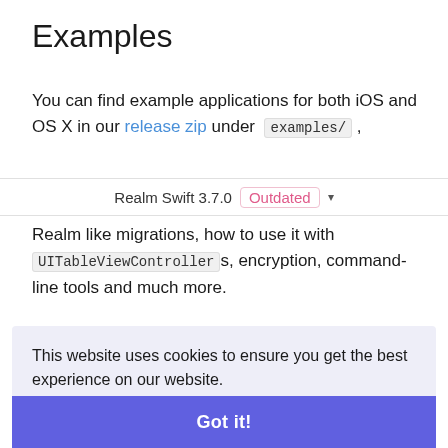Examples
You can find example applications for both iOS and OS X in our release zip under examples/ , Realm Swift 3.7.0  Outdated ▾
Realm like migrations, how to use it with UITableViewControllers, encryption, command-line tools and much more.
This website uses cookies to ensure you get the best experience on our website.
Learn more
Got it!